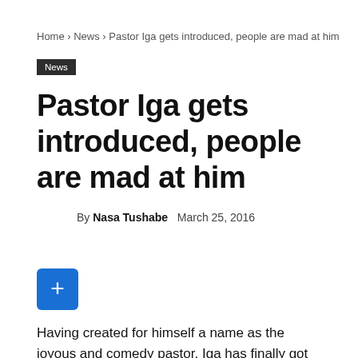Home › News › Pastor Iga gets introduced, people are mad at him
News
Pastor Iga gets introduced, people are mad at him
By Nasa Tushabe   March 25, 2016
[Figure (other): Blue plus button UI element]
Having created for himself a name as the joyous and comedy pastor, Iga has finally got someone to call his own after getting married to a young beautiful woman under a